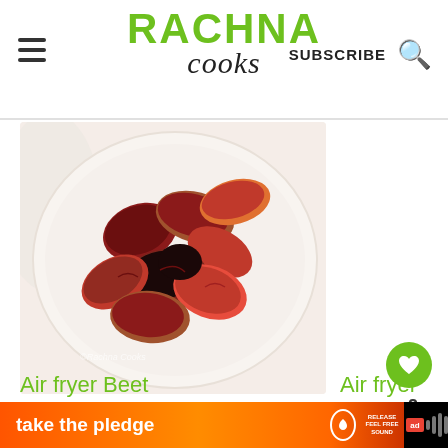RACHNA cooks — SUBSCRIBE
[Figure (photo): Air fryer beet chips on a white ceramic plate, showing crispy dark red/purple beet slices with a watermark 'Rachna Cooks']
2
WHAT'S NEXT → Hot and Sour Soup Recipe...
Air fryer Beet
Air fryer
take the pledge